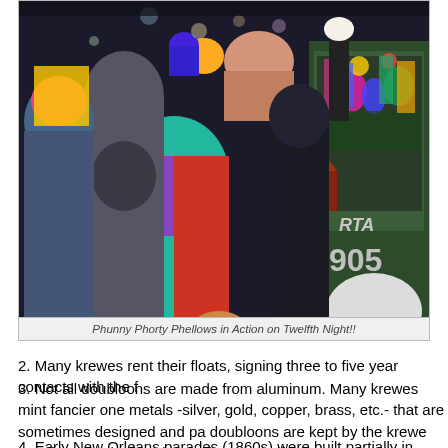[Figure (photo): Crowd photo of people in colorful winter clothing and costumes at a Mardi Gras parade at night, with a streetcar visible on the right side showing 'RTA' and '905'. People are wearing masks, wigs, and festive attire.]
Phunny Phorty Phellows in Action on Twelfth Night!!
2. Many krewes rent their floats, signing three to five year contacts with the f
3. Not all doubloons are made from aluminum. Many krewes mint fancier one metals -silver, gold, copper, brass, etc.- that are sometimes designed and pa doubloons are kept by the krewe members or given as krewe favors or gifts.
4. Early New Orleans parades (1860s) were built partially in Paris and finishe parade constructed entirely in New Orleans was Comus 1873, entitled Miss the Species, built by George Soulé. The Missing Links parade was an impor Mardi Gras history, becoming one of the first major parades to use satire and